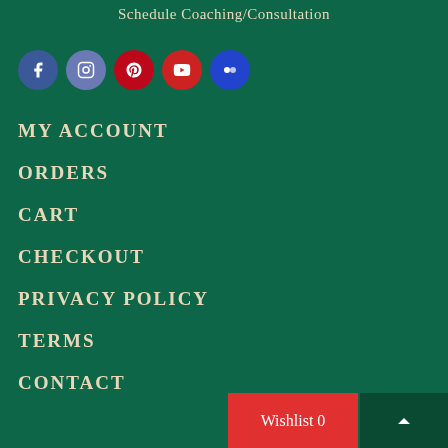Schedule Coaching/Consultation
[Figure (other): Social media icon circles: Facebook (blue), Instagram (blue-grey), Pinterest (red), YouTube (red), Flickr (blue)]
MY ACCOUNT
ORDERS
CART
CHECKOUT
PRIVACY POLICY
TERMS
CONTACT
Wishlist 0